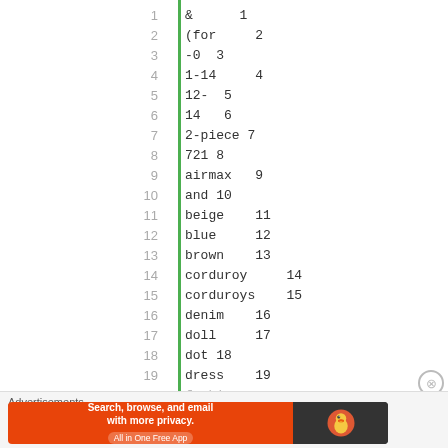1  &      1
2  (for  2
3  -0   3
4  1-14     4
5  12-  5
6  14   6
7  2-piece 7
8  721 8
9  airmax  9
10  and 10
11  beige     11
12  blue      12
13  brown     13
14  corduroy      14
15  corduroys     15
16  denim     16
17  doll      17
18  dot 18
19  dress     19
20  fashi...  20
Advertisements
Search, browse, and email with more privacy. All in One Free App — DuckDuckGo